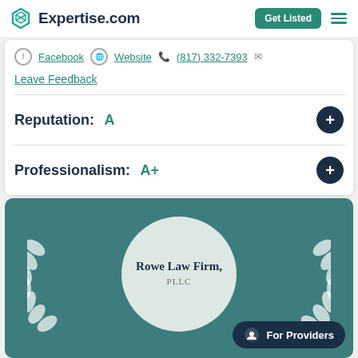Expertise.com
Facebook  Website  (817) 332-7393
Leave Feedback
Reputation: A
Professionalism: A+
[Figure (logo): Rowe Law Firm, PLLC award medallion with laurel wreath on teal background]